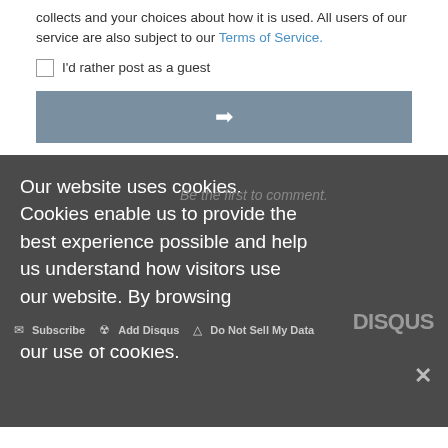collects and your choices about how it is used. All users of our service are also subject to our Terms of Service.
I'd rather post as a guest
[Figure (other): Submit button with right-pointing arrow]
Be the first to comment.
Our website uses cookies. Cookies enable us to provide the best experience possible and help us understand how visitors use our website. By browsing govinfosecurity.com, you agree to our use of cookies.
Subscribe  Add Disqus  Do Not Sell My Data   DISQUS